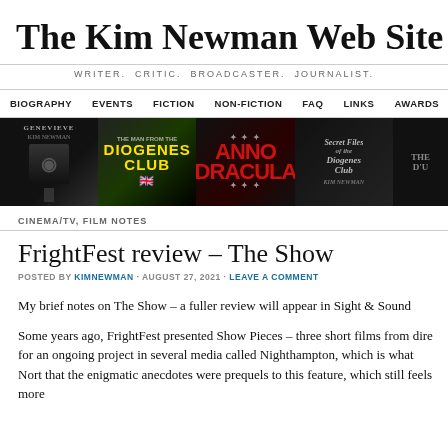The Kim Newman Web Site
WRITER. CRITIC. BROADCASTER. JOURNALIST.
BIOGRAPHY  EVENTS  FICTION  NON-FICTION  FAQ  LINKS  AWARDS
[Figure (photo): Banner with book covers: Genevieve, The Man from the Diogenes Club, Anno Dracula, Secret Files of the Diogenes Club, and another book]
CINEMA/TV, FILM NOTES
FrightFest review – The Show
POSTED BY KIMNEWMAN · AUGUST 27, 2021 · LEAVE A COMMENT
My brief notes on The Show – a fuller review will appear in Sight & Sound
Some years ago, FrightFest presented Show Pieces – three short films from dire for an ongoing project in several media called Nighthampton, which is what Nort that the enigmatic anecdotes were prequels to this feature, which still feels more